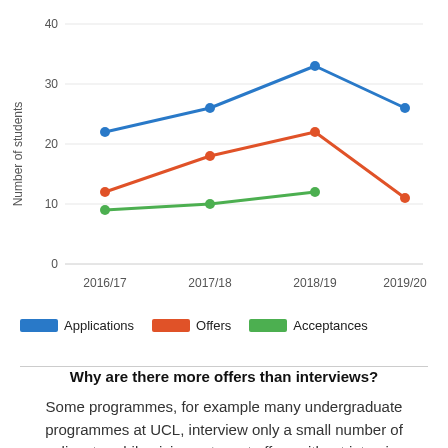[Figure (line-chart): ]
Why are there more offers than interviews?
Some programmes, for example many undergraduate programmes at UCL, interview only a small number of applicants, while giving out most offers without interview.